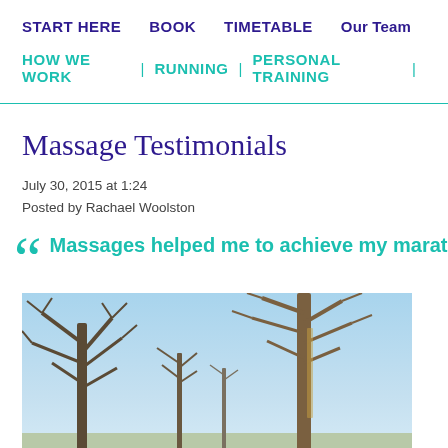START HERE   BOOK   TIMETABLE   Our Team
HOW WE WORK | RUNNING | PERSONAL TRAINING |
Massage Testimonials
July 30, 2015 at 1:24
Posted by Rachael Woolston
Massages helped me to achieve my marat
[Figure (photo): Outdoor winter scene with bare trees against a blue sky]